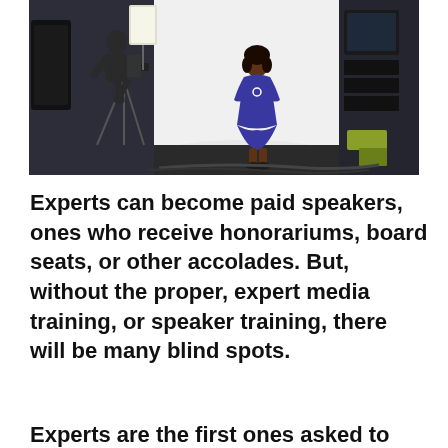[Figure (photo): A photography or video studio scene: a woman in a blue dress stands in front of a white backdrop/seamless paper, while a cameraman with professional camera equipment and tripod photographs her. Studio lighting equipment and monitors are visible on the sides.]
Experts can become paid speakers, ones who receive honorariums, board seats, or other accolades. But, without the proper, expert media training, or speaker training, there will be many blind spots.
Experts are the first ones asked to speak at